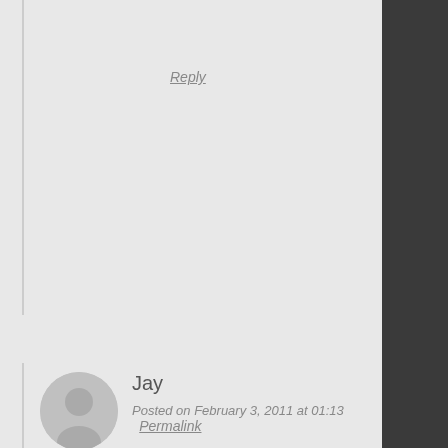Reply
[Figure (illustration): User avatar — circular grey silhouette of a person on a grey background]
Jay
Posted on February 3, 2011 at 01:13  Permalink
Hey, I tested your demo page with my ipad running ios 3.2.1 and the scrollbars don't seem to respond in safari. Have you tested the script for ipad? If so, what ios version?
Thanks, great script; you